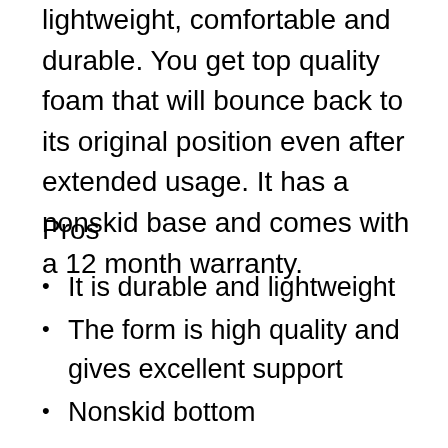lightweight, comfortable and durable. You get top quality foam that will bounce back to its original position even after extended usage. It has a nonskid base and comes with a 12 month warranty.
Pros
It is durable and lightweight
The form is high quality and gives excellent support
Nonskid bottom